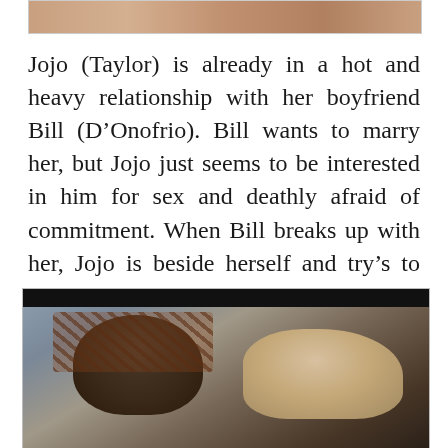[Figure (photo): Partial photo at top of page, cropped, showing people in a scene]
Jojo (Taylor) is already in a hot and heavy relationship with her boyfriend Bill (D’Onofrio). Bill wants to marry her, but Jojo just seems to be interested in him for sex and deathly afraid of commitment. When Bill breaks up with her, Jojo is beside herself and try’s to figure out a way to get him back.
[Figure (photo): Photo at bottom of page showing two people close together, one wearing a dark knit cap and plaid shirt, another with lighter hair, appearing to kiss or embrace]